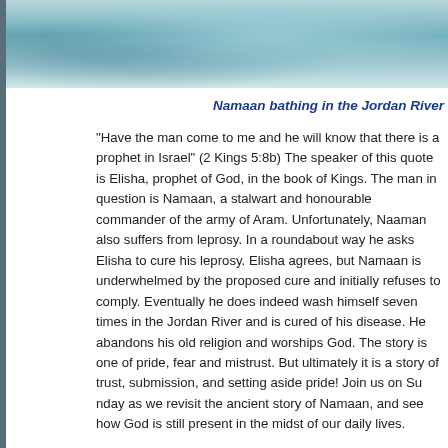[Figure (photo): Photo of water, likely the Jordan River, with blue-green aquatic tones]
Namaan bathing in the Jordan River
“Have the man come to me and he will know that there is a prophet in Israel” (2 Kings 5:8b) The speaker of this quote is Elisha, prophet of God, in the book of Kings. The man in question is Namaan, a stalwart and honourable commander of the army of Aram. Unfortunately, Naaman also suffers from leprosy. In a roundabout way he asks Elisha to cure his leprosy. Elisha agrees, but Namaan is underwhelmed by the proposed cure and initially refuses to comply. Eventually he does indeed wash himself seven times in the Jordan River and is cured of his disease. He abandons his old religion and worships God. The story is one of pride, fear and mistrust. But ultimately it is a story of trust, submission, and setting aside pride! Join us on Sunday as we revisit the ancient story of Namaan, and see how God is still present in the midst of our daily lives.
We warmly welcome the Reverends Heather and Paul Kern to lead worship this morning.